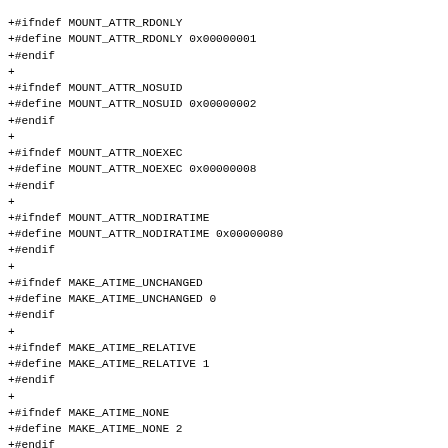+#ifndef MOUNT_ATTR_RDONLY
+#define MOUNT_ATTR_RDONLY 0x00000001
+#endif
+
+#ifndef MOUNT_ATTR_NOSUID
+#define MOUNT_ATTR_NOSUID 0x00000002
+#endif
+
+#ifndef MOUNT_ATTR_NOEXEC
+#define MOUNT_ATTR_NOEXEC 0x00000008
+#endif
+
+#ifndef MOUNT_ATTR_NODIRATIME
+#define MOUNT_ATTR_NODIRATIME 0x00000080
+#endif
+
+#ifndef MAKE_ATIME_UNCHANGED
+#define MAKE_ATIME_UNCHANGED 0
+#endif
+
+#ifndef MAKE_ATIME_RELATIVE
+#define MAKE_ATIME_RELATIVE 1
+#endif
+
+#ifndef MAKE_ATIME_NONE
+#define MAKE_ATIME_NONE 2
+#endif
+
+#ifndef MAKE_ATIME_STRICT
+#define MAKE_ATIME_STRICT 3
+#endif